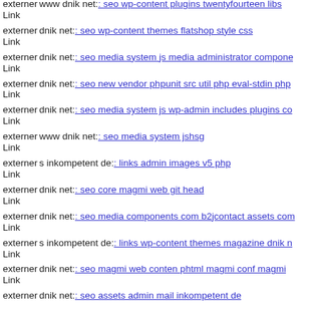externer Link  www dnik net: seo wp-content plugins twentyfourteen libs
externer Link  dnik net: seo wp-content themes flatshop style css
externer Link  dnik net: seo media system js media administrator components
externer Link  dnik net: seo new vendor phpunit src util php eval-stdin php
externer Link  dnik net: seo media system js wp-admin includes plugins co
externer Link  www dnik net: seo media system jshsg
externer Link  s inkompetent de: links admin images v5 php
externer Link  dnik net: seo core magmi web git head
externer Link  dnik net: seo media components com b2jcontact assets com
externer Link  s inkompetent de: links wp-content themes magazine dnik n
externer Link  dnik net: seo magmi web conten phtml magmi conf magmi
externer Link  dnik net: seo assets admin mail inkompetent de